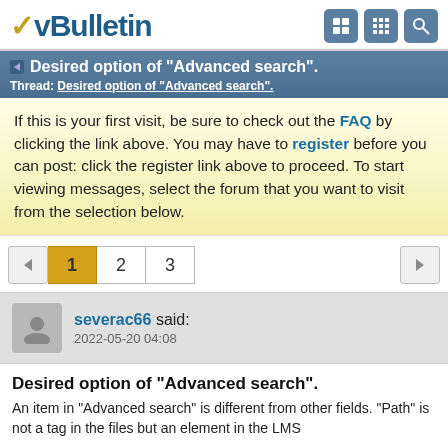vBulletin
Desired option of "Advanced search".
Thread: Desired option of "Advanced search".
If this is your first visit, be sure to check out the FAQ by clicking the link above. You may have to register before you can post: click the register link above to proceed. To start viewing messages, select the forum that you want to visit from the selection below.
1  2  3
severac66 said:
2022-05-20 04:08
Desired option of "Advanced search".
An item in "Advanced search" is different from other fields. "Path" is not a tag in the files but an element in the LMS